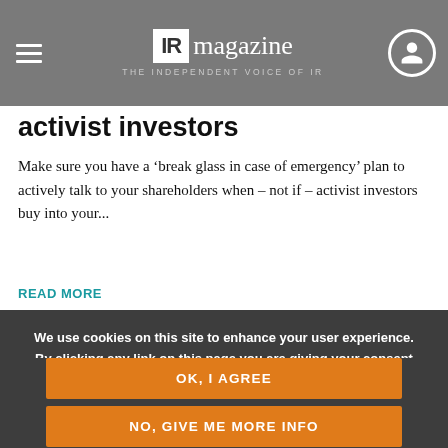IR magazine — THE INDEPENDENT VOICE OF IR
activist investors
Make sure you have a 'break glass in case of emergency' plan to actively talk to your shareholders when – not if – activist investors buy into your...
READ MORE
We use cookies on this site to enhance your user experience. By clicking any link on this page you are giving your consent for us to set cookies.
OK, I AGREE
NO, GIVE ME MORE INFO